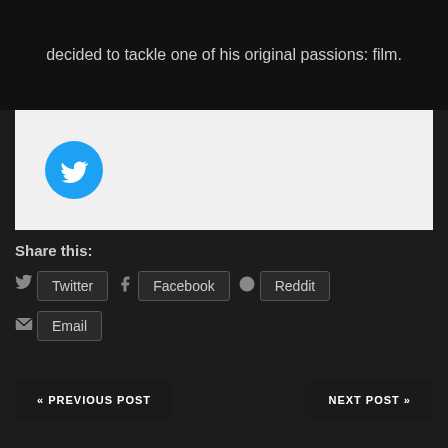decided to tackle one of his original passions: film.
[Figure (logo): Twitter bird logo in blue circle]
Share this:
Twitter
Facebook
Reddit
Email
« PREVIOUS POST
NEXT POST »
Leave a Reply
Your email address will not be published. Required fields are marked *